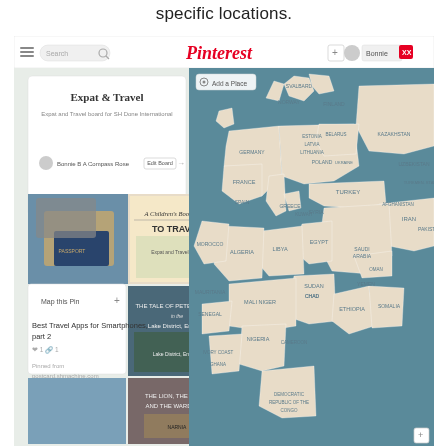specific locations.
[Figure (screenshot): Screenshot of a Pinterest page showing an 'Expat & Travel' board with a map view. The left panel shows board details including title 'Expat & Travel', description 'Expat and Travel board for SH Done International', owner 'Bonnie B A Compass Rose', an 'Edit Board' button, and pinned images including travel books ('A Children's Book Guide TO TRAVEL', 'The Tale of Peter Rabbit in the Lake District, England', 'The Lion the Witch and the Wardrobe'), a laptop with passport photo, and a 'Best Travel Apps for Smartphones, part 2' pin with 'Map this Pin' option. The right panel shows a world map centered on Europe, Africa and the Middle East with country labels.]